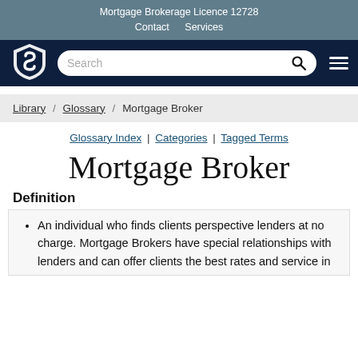Mortgage Brokerage Licence 12728
Contact   Services
[Figure (logo): Shield logo with stylized S letter, white on dark background]
Search
Breadcrumb navigation: Library / Glossary / Mortgage Broker
Glossary Index | Categories | Tagged Terms
Mortgage Broker
Definition
An individual who finds clients perspective lenders at no charge. Mortgage Brokers have special relationships with lenders and can offer clients the best rates and service in